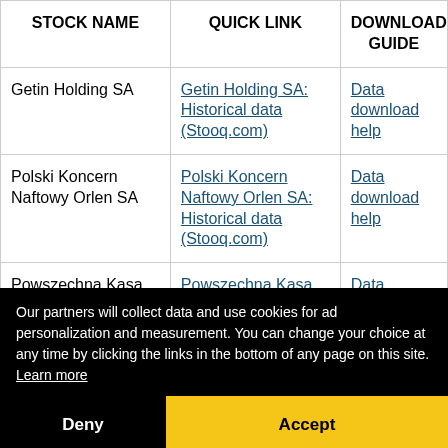| STOCK NAME | QUICK LINK | DOWNLOAD GUIDE |
| --- | --- | --- |
| Getin Holding SA | Getin Holding SA: Historical data (Stooq.com) | Data download help |
| Polski Koncern Naftowy Orlen SA | Polski Koncern Naftowy Orlen SA: Historical data (Stooq.com) | Data download help |
| Powszechna Kasa Oszczednosci Bank Polski SA | Powszechna Kasa Oszczednosci Bank Polski SA | Data download help |
Our partners will collect data and use cookies for ad personalization and measurement. You can change your choice at any time by clicking the links in the bottom of any page on this site. Learn more